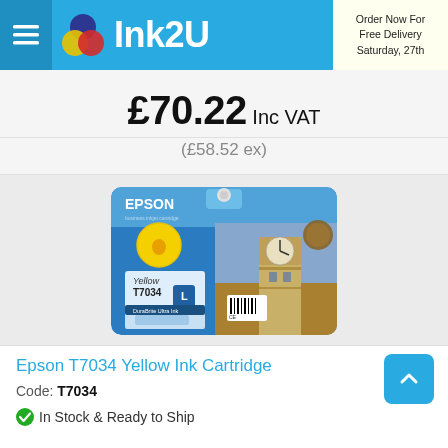Ink2U — Order Now For Free Delivery Saturday, 27th
£70.22 Inc VAT
(£58.52 ex)
[Figure (photo): Epson T7034 Yellow Ink Cartridge product packaging with Big Ben in the background]
Epson T7034 Yellow Ink Cartridge
Code: T7034
In Stock & Ready to Ship